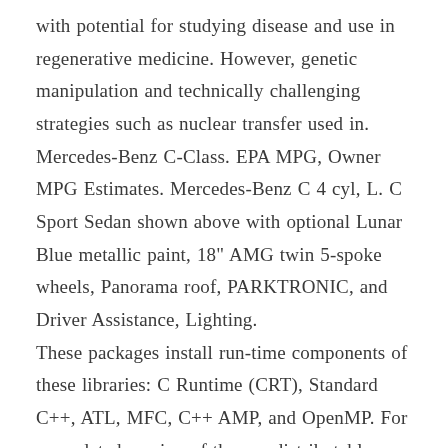with potential for studying disease and use in regenerative medicine. However, genetic manipulation and technically challenging strategies such as nuclear transfer used in. Mercedes-Benz C-Class. EPA MPG, Owner MPG Estimates. Mercedes-Benz C 4 cyl, L. C Sport Sedan shown above with optional Lunar Blue metallic paint, 18" AMG twin 5-spoke wheels, Panorama roof, PARKTRONIC, and Driver Assistance, Lighting. These packages install run-time components of these libraries: C Runtime (CRT), Standard C++, ATL, MFC, C++ AMP, and OpenMP. For an updated version of these redistributable packages, see KB ABS Utility Billing - Billing and Financial Software specifically designed for local governments, special districts and private utilities to professional manage their organizations. Pluripotent stem cells can be induced from somatic cells, providing an